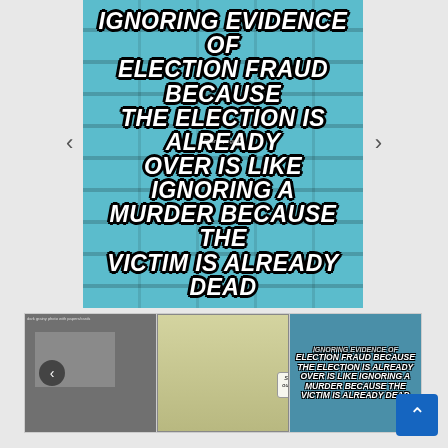[Figure (photo): Meme image on teal brick wall background with bold white italic text reading: IGNORING EVIDENCE OF ELECTION FRAUD BECAUSE THE ELECTION IS ALREADY OVER IS LIKE IGNORING A MURDER BECAUSE THE VICTIM IS ALREADY DEAD. Attribution: @Groupogo35]
[Figure (screenshot): Thumbnail carousel strip showing three thumbnails: (1) dark photo with cards/papers, (2) comic strip panels showing conspiracy theorist conversation, (3) smaller version of the main meme text on teal background. A back arrow button and scroll-to-top blue button are visible.]